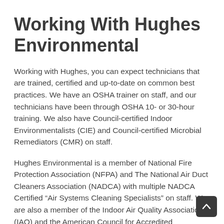Working With Hughes Environmental
Working with Hughes, you can expect technicians that are trained, certified and up-to-date on common best practices. We have an OSHA trainer on staff, and our technicians have been through OSHA 10- or 30-hour training. We also have Council-certified Indoor Environmentalists (CIE) and Council-certified Microbial Remediators (CMR) on staff.
Hughes Environmental is a member of National Fire Protection Association (NFPA) and The National Air Duct Cleaners Association (NADCA) with multiple NADCA Certified “Air Systems Cleaning Specialists” on staff. We are also a member of the Indoor Air Quality Association (IAQ) and the American Council for Accredited Certification